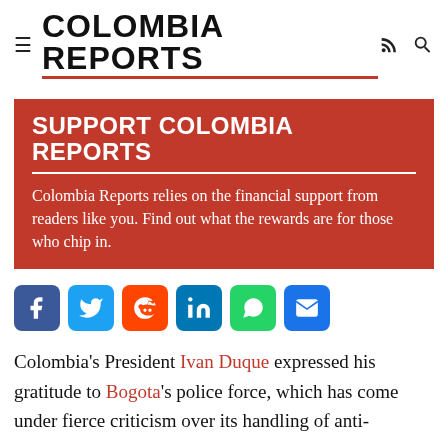COLOMBIA REPORTS
[Figure (infographic): Support Colombia Reports banner — red background with white bold heading 'SUPPORT COLOMBIA REPORTS', a white horizontal rule, and text: 'Colombia Reports relies on the financial support from readers like you. Find out what the rewards are for those who chip in.']
[Figure (infographic): Social share icon bar: Facebook (blue), Twitter (light blue), Reddit (orange-red), LinkedIn (blue), WhatsApp (green), Email (blue)]
Colombia's President Ivan Duque expressed his gratitude to Bogota's police force, which has come under fierce criticism over its handling of anti-